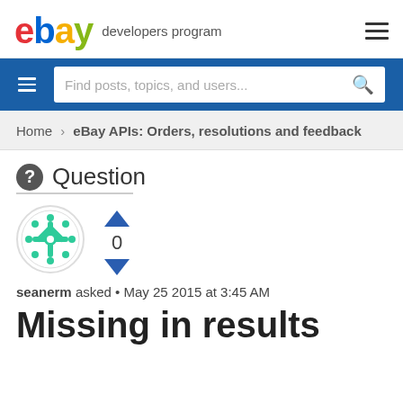ebay developers program
[Figure (screenshot): eBay Developers Program website header with logo and navigation search bar]
Home > eBay APIs: Orders, resolutions and feedback
Question
[Figure (illustration): User avatar icon with green snowflake/mandala pattern]
seanerm asked • May 25 2015 at 3:45 AM
Missing in results